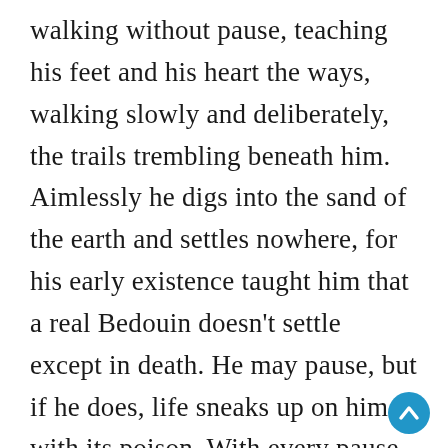walking without pause, teaching his feet and his heart the ways, walking slowly and deliberately, the trails trembling beneath him. Aimlessly he digs into the sand of the earth and settles nowhere, for his early existence taught him that a real Bedouin doesn't settle except in death. He may pause, but if he does, life sneaks up on him with its poison. With every pause comes an ache. The trick is not to overcome life's problems, but to understand its laws.